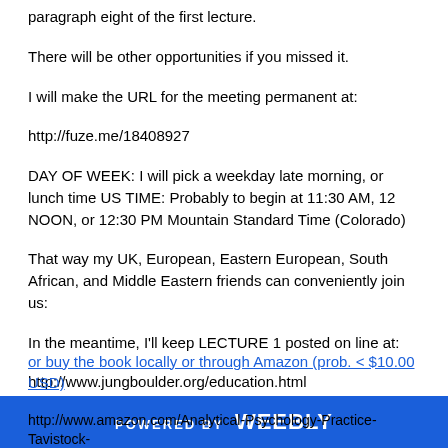paragraph eight of the first lecture.
There will be other opportunities if you missed it.
I will make the URL for the meeting permanent at:
http://fuze.me/18408927
DAY OF WEEK: I will pick a weekday late morning, or lunch time US TIME: Probably to begin at 11:30 AM, 12 NOON, or 12:30 PM Mountain Standard Time (Colorado)
That way my UK, European, Eastern European, South African, and Middle Eastern friends can conveniently join us:
In the meantime, I'll keep LECTURE 1 posted on line at:
http://www.jungboulder.org/education.html
or buy the book locally or through Amazon (prob. < $10.00 USD)
POWERED BY weebly
http://www.amazon.com/Analytical-Psychology-Practice-Tavistock-